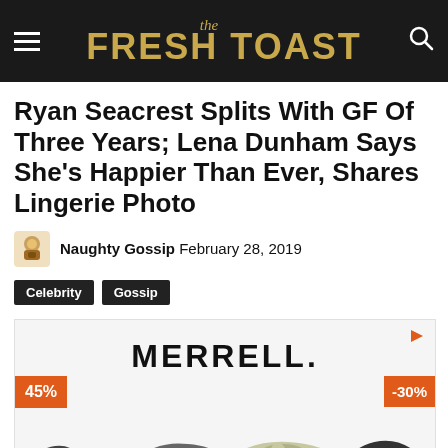the FRESH TOAST
Ryan Seacrest Splits With GF Of Three Years; Lena Dunham Says She’s Happier Than Ever, Shares Lingerie Photo
Naughty Gossip February 28, 2019
Celebrity
Gossip
[Figure (photo): Merrell advertisement showing shoes including foam clogs with discount badges -45% and -30%]